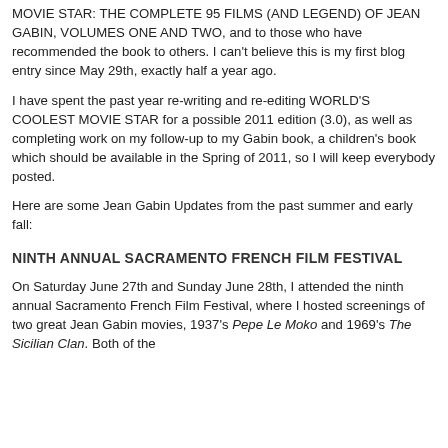MOVIE STAR: THE COMPLETE 95 FILMS (AND LEGEND) OF JEAN GABIN, VOLUMES ONE AND TWO, and to those who have recommended the book to others. I can't believe this is my first blog entry since May 29th, exactly half a year ago.
I have spent the past year re-writing and re-editing WORLD'S COOLEST MOVIE STAR for a possible 2011 edition (3.0), as well as completing work on my follow-up to my Gabin book, a children's book which should be available in the Spring of 2011, so I will keep everybody posted.
Here are some Jean Gabin Updates from the past summer and early fall:
NINTH ANNUAL SACRAMENTO FRENCH FILM FESTIVAL
On Saturday June 27th and Sunday June 28th, I attended the ninth annual Sacramento French Film Festival, where I hosted screenings of two great Jean Gabin movies, 1937's Pepe Le Moko and 1969's The Sicilian Clan. Both of the